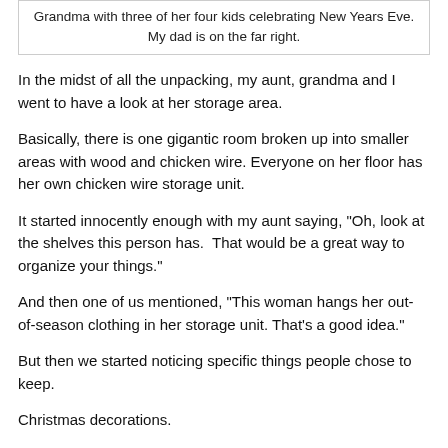Grandma with three of her four kids celebrating New Years Eve. My dad is on the far right.
In the midst of all the unpacking, my aunt, grandma and I went to have a look at her storage area.
Basically, there is one gigantic room broken up into smaller areas with wood and chicken wire. Everyone on her floor has her own chicken wire storage unit.
It started innocently enough with my aunt saying, "Oh, look at the shelves this person has.  That would be a great way to organize your things."
And then one of us mentioned, "This woman hangs her out-of-season clothing in her storage unit. That's a good idea."
But then we started noticing specific things people chose to keep.
Christmas decorations.